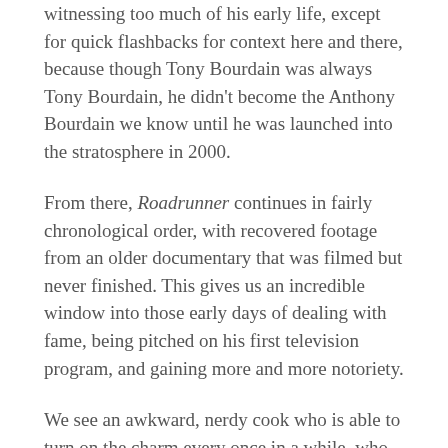witnessing too much of his early life, except for quick flashbacks for context here and there, because though Tony Bourdain was always Tony Bourdain, he didn't become the Anthony Bourdain we know until he was launched into the stratosphere in 2000.
From there, Roadrunner continues in fairly chronological order, with recovered footage from an older documentary that was filmed but never finished. This gives us an incredible window into those early days of dealing with fame, being pitched on his first television program, and gaining more and more notoriety.
We see an awkward, nerdy cook who is able to turn on the charm every once in a while, who is thrown into a world of television and travel, neither of which he has any experience in.
It is amazing to watch those early Bourdain behind the